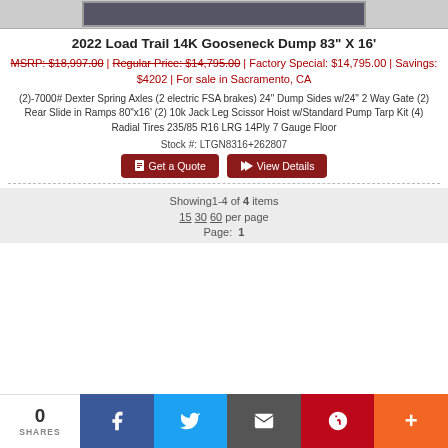[Figure (photo): Partial product listing image at top of page, showing a vehicle/trailer]
2022 Load Trail 14K Gooseneck Dump 83" X 16'
MSRP: $18,997.00 | Regular Price: $14,795.00 | Factory Special: $14,795.00 | Savings: $4202 | For sale in Sacramento, CA
(2)-7000# Dexter Spring Axles (2 electric FSA brakes) 24" Dump Sides w/24" 2 Way Gate (2) Rear Slide in Ramps 80"x16' (2) 10k Jack Leg Scissor Hoist w/Standard Pump Tarp Kit (4) Radial Tires 235/85 R16 LRG 14Ply 7 Gauge Floor
Stock #: LTGN8316+262807
Get a Quote   View Details
Showing1-4 of 4 items
15  30  60  per page
Page: 1
0 SHARES  [Facebook] [Twitter] [Email] [Pinterest] [More]